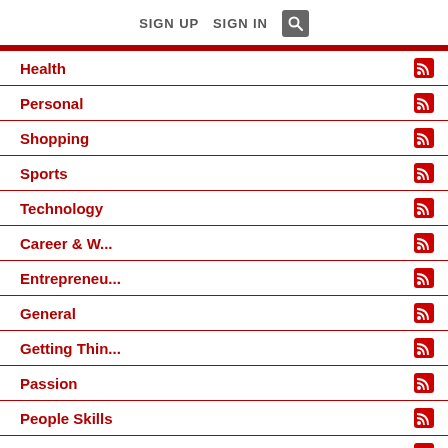SIGN UP   SIGN IN   🔍
Health
Personal
Shopping
Sports
Technology
Career & W...
Entrepreneu...
General
Getting Thin...
Passion
People Skills
Personal De...